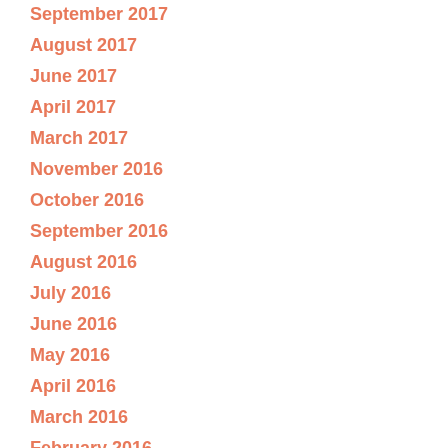September 2017
August 2017
June 2017
April 2017
March 2017
November 2016
October 2016
September 2016
August 2016
July 2016
June 2016
May 2016
April 2016
March 2016
February 2016
January 2016